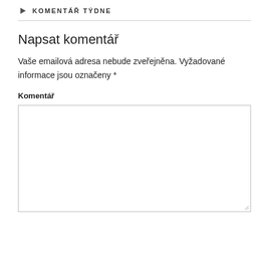KOMENTÁŘ TÝDNE
Napsat komentář
Vaše emailová adresa nebude zveřejněna. Vyžadované informace jsou označeny *
Komentář